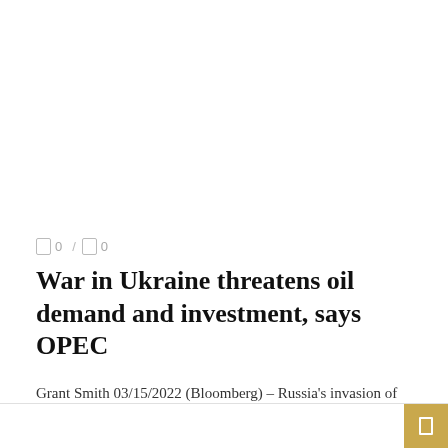0 / 0
War in Ukraine threatens oil demand and investment, says OPEC
Grant Smith 03/15/2022 (Bloomberg) – Russia's invasion of Ukraine threatens to intensify a surge in global inflation, hurting oil demand and investment, the Organization of the ...
READ MORE